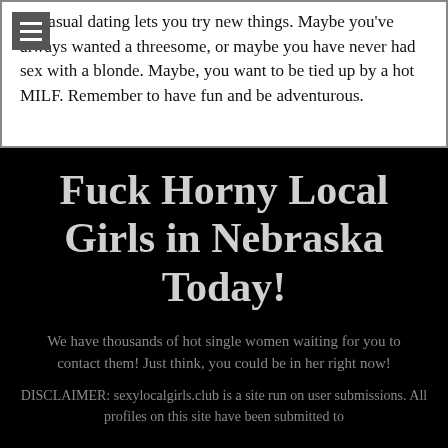6. Casual dating lets you try new things. Maybe you've always wanted a threesome, or maybe you have never had sex with a blonde. Maybe, you want to be tied up by a hot MILF. Remember to have fun and be adventurous.
Fuck Horny Local Girls in Nebraska Today!
We have thousands of hot single women waiting for you to contact them! Just think, you could be in her right now!
DISCLAIMER: sexylocalgirls.club is a site run on user submissions. All profiles on this site have been submitted to